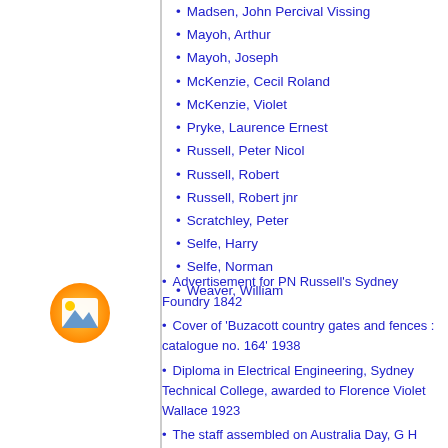Madsen, John Percival Vissing
Mayoh, Arthur
Mayoh, Joseph
McKenzie, Cecil Roland
McKenzie, Violet
Pryke, Laurence Ernest
Russell, Peter Nicol
Russell, Robert
Russell, Robert jnr
Scratchley, Peter
Selfe, Harry
Selfe, Norman
Weaver, William
[Figure (illustration): Orange icon depicting a picture/image placeholder with mountains and sun]
Advertisement for PN Russell's Sydney Foundry 1842
Cover of 'Buzacott country gates and fences : catalogue no. 164' 1938
Diploma in Electrical Engineering, Sydney Technical College, awarded to Florence Violet Wallace 1923
The staff assembled on Australia Day, G H